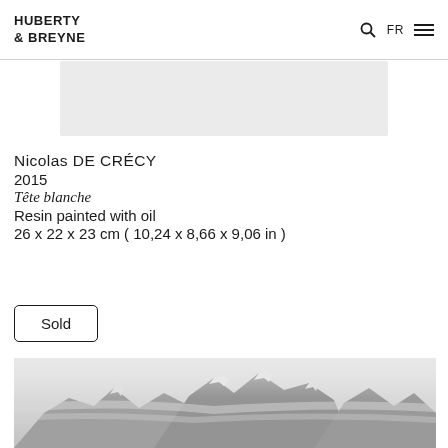HUBERTY & BREYNE  FR
[Figure (photo): Partial view of an artwork or sculpture, cropped image at top of content area]
Nicolas DE CRÉCY
2015
Tête blanche
Resin painted with oil
26 x 22 x 23 cm ( 10,24 x 8,66 x 9,06 in )
Sold
[Figure (photo): Black and white photograph of misty mountain peaks with snow and clouds]